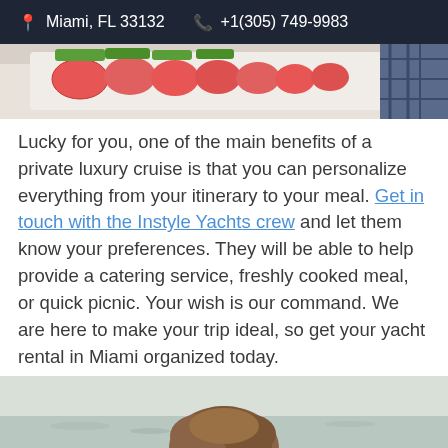Miami, FL 33132   +1(305) 749-9983
[Figure (photo): Plate of sliced fruit including watermelon and strawberries on a table, with a decorative fabric in the background]
Lucky for you, one of the main benefits of a private luxury cruise is that you can personalize everything from your itinerary to your meal. Get in touch with the Instyle Yachts crew and let them know your preferences. They will be able to help provide a catering service, freshly cooked meal, or quick picnic. Your wish is our command. We are here to make your trip ideal, so get your yacht rental in Miami organized today.
[Figure (photo): Person with brown hair seen from behind, on a boat or waterfront setting]